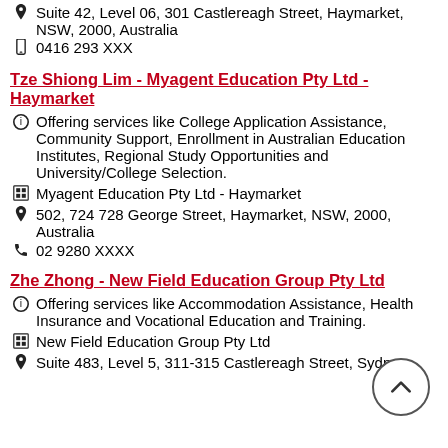📍 Suite 42, Level 06, 301 Castlereagh Street, Haymarket, NSW, 2000, Australia
📱 0416 293 XXX
Tze Shiong Lim - Myagent Education Pty Ltd - Haymarket
ℹ️ Offering services like College Application Assistance, Community Support, Enrollment in Australian Education Institutes, Regional Study Opportunities and University/College Selection.
🏢 Myagent Education Pty Ltd - Haymarket
📍 502, 724 728 George Street, Haymarket, NSW, 2000, Australia
📞 02 9280 XXXX
Zhe Zhong - New Field Education Group Pty Ltd
ℹ️ Offering services like Accommodation Assistance, Health Insurance and Vocational Education and Training.
🏢 New Field Education Group Pty Ltd
📍 Suite 483, Level 5, 311-315 Castlereagh Street, Sydney